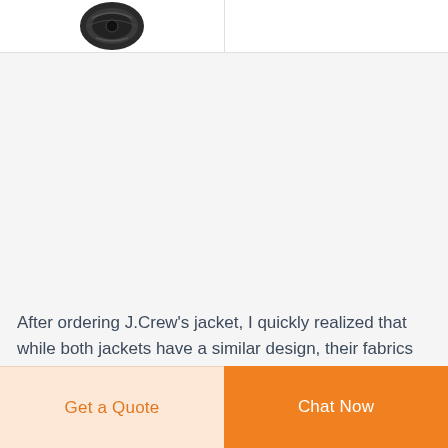[Figure (photo): Partial view of a dark/black jacket product image in the top-left cell of a two-column layout]
After ordering J.Crew's jacket, I quickly realized that while both jackets have a similar design, their fabrics definitely differ. The J. Crew jacket has an incredibly soft, cotton-like
Get a Quote
Chat Now